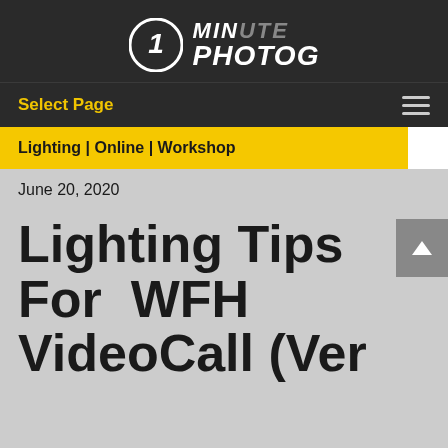[Figure (logo): 1 Minute Photog logo: circle with number 1 and bold italic text MINUTE PHOTOG]
Select Page
Lighting | Online | Workshop
June 20, 2020
Lighting Tips For WFH VideoCall (Ver